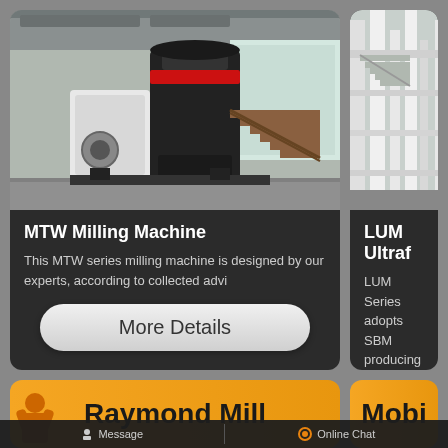[Figure (photo): MTW Milling Machine - large industrial milling machine with black cylindrical body and red base, in a factory setting with stairs]
MTW Milling Machine
This MTW series milling machine is designed by our experts, according to collected advi
More Details
[Figure (photo): LUM Ultrafine machine - industrial equipment with white metal framework and stairs, outdoor/indoor industrial setting]
LUM Ultraf
LUM Series adopts SBM producing w
Raymond Mill
Mobi
Message   Online Chat